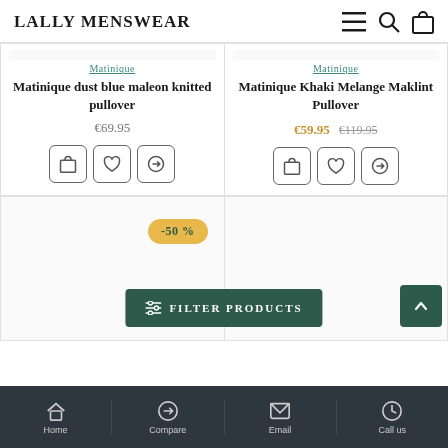LALLY MENSWEAR
Matinique
Matinique dust blue maleon knitted pullover
€69.95
Matinique
Matinique Khaki Melange Maklint Pullover
€59.95  €119.95
-50 %
FILTER PRODUCTS
Home  Compare  Email  Call us